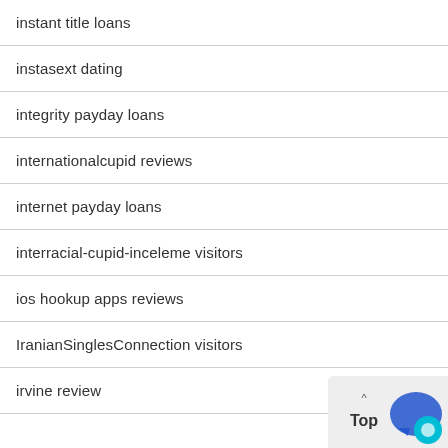instant title loans
instasext dating
integrity payday loans
internationalcupid reviews
internet payday loans
interracial-cupid-inceleme visitors
ios hookup apps reviews
IranianSinglesConnection visitors
irvine review